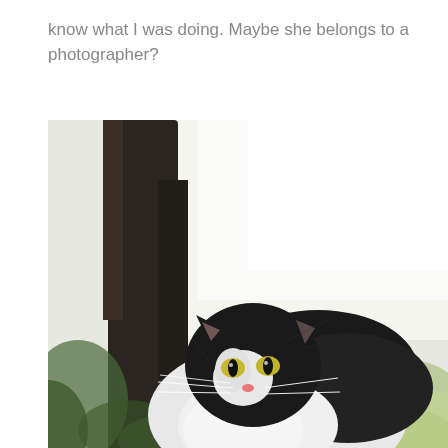know what I was doing. Maybe she belongs to a photographer?
[Figure (photo): A black and white cat with yellow-green eyes sitting outdoors. The cat has a white muzzle, black markings on its face and body, and white chest/belly fur. Blurred tree trunk and green bokeh background with bright overexposed sky behind the tree.]